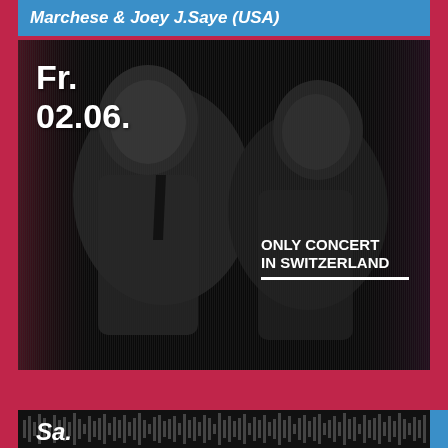Marchese & Joey J.Saye (USA)
[Figure (photo): Black and white striped halftone photo of musicians, with date overlay 'Fr. 02.06.' and 'Only Concert in Switzerland' badge]
Fr.
02.06.
ONLY CONCERT IN SWITZERLAND
Andrew Duncanson & Friends feat. Nick Moss & Dennis Gruenling (USA)
[Figure (photo): Dark strip at bottom with waveform/audio visualization]